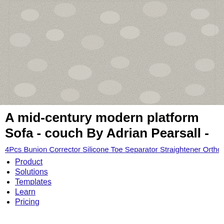[Figure (photo): Close-up photo of a textured white/cream boucle fabric surface, showing looped yarn texture typical of upholstery material.]
A mid-century modern platform Sofa - couch By Adrian Pearsall -
4Pcs Bunion Corrector Silicone Toe Separator Straightener Orthop
Product
Solutions
Templates
Learn
Pricing